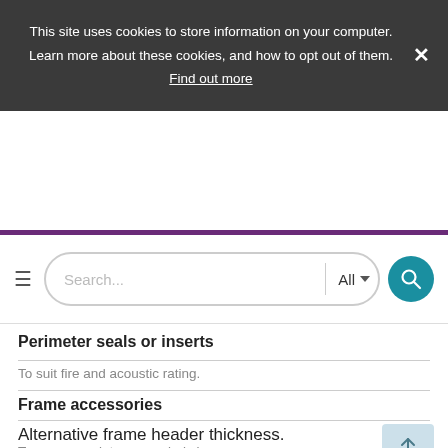This site uses cookies to store information on your computer. Learn more about these cookies, and how to opt out of them. Find out more
[Figure (screenshot): Search bar with hamburger menu, text input placeholder 'Search...', 'All' dropdown, and teal search button]
Perimeter seals or inserts
To suit fire and acoustic rating.
Frame accessories
Alternative frame header thickness.
To accommodate concealed closers.